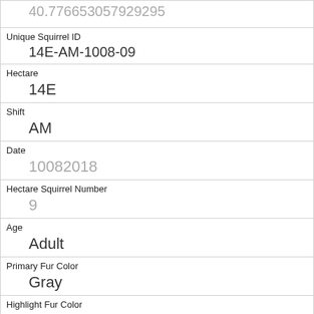| 40.7766530579292​95 |
| Unique Squirrel ID | 14E-AM-1008-09 |
| Hectare | 14E |
| Shift | AM |
| Date | 10082018 |
| Hectare Squirrel Number | 9 |
| Age | Adult |
| Primary Fur Color | Gray |
| Highlight Fur Color |  |
| Combination of Primary and Highlight Color | Gray+ |
| Color notes |  |